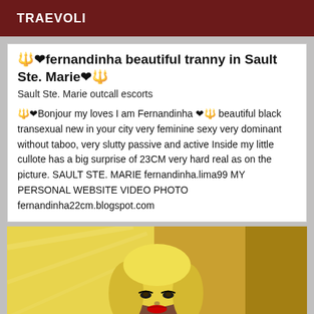TRAEVOLI
🔱❤fernandinha beautiful tranny in Sault Ste. Marie❤🔱
Sault Ste. Marie outcall escorts
🔱❤Bonjour my loves I am Fernandinha ❤🔱 beautiful black transexual new in your city very feminine sexy very dominant without taboo, very slutty passive and active Inside my little cullote has a big surprise of 23CM very hard real as on the picture. SAULT STE. MARIE fernandinha.lima99 MY PERSONAL WEBSITE VIDEO PHOTO fernandinha22cm.blogspot.com
[Figure (photo): Photo of a blonde woman with red lipstick wearing dark clothing, posing against a yellow/golden background]